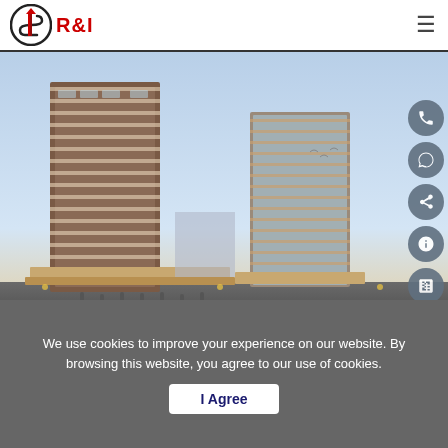R&I logo and navigation header
[Figure (photo): Architectural rendering of two modern high-rise residential/mixed-use towers with retail podium, set at dusk with city background]
We use cookies to improve your experience on our website. By browsing this website, you agree to our use of cookies.
I Agree